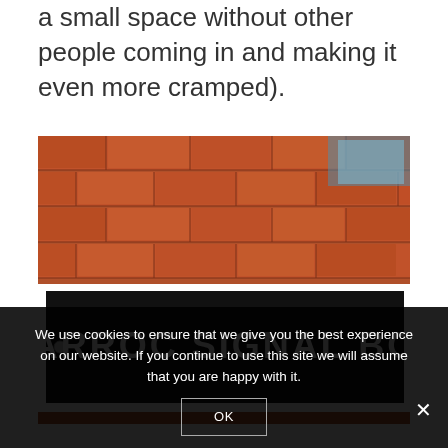pretty annoying trying to lift something in a small space without other people coming in and making it even more cramped).
[Figure (photo): Photo of a black sign mounted on a red brick wall reading 'CARROC SIGNAL BOX' in white capital letters, with a white border frame around the sign.]
We use cookies to ensure that we give you the best experience on our website. If you continue to use this site we will assume that you are happy with it.